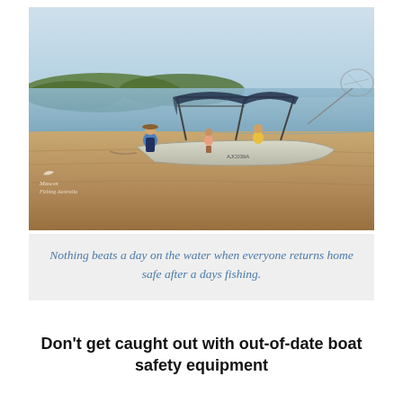[Figure (photo): A family on an aluminium boat with a navy bimini canopy pulled up on a sandy shore. A woman in a blue shirt and hat stands on the beach holding the bow rope. Two children are on the boat, one wearing a life jacket. A fishing net is visible on the right. Calm water and tree-lined coast in the background. Mascot Fishing Australia watermark visible bottom left.]
Nothing beats a day on the water when everyone returns home safe after a days fishing.
Don't get caught out with out-of-date boat safety equipment